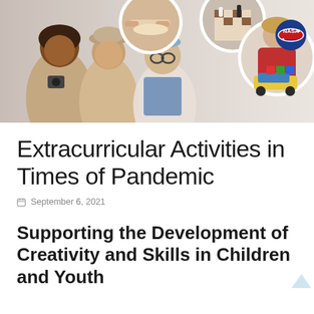[Figure (photo): Banner photo collage showing children engaged in various activities: three smiling children in foreground, circular insets showing baking/cooking, Lego robot building, chess playing, and a NASA logo badge in top right]
Extracurricular Activities in Times of Pandemic
September 6, 2021
Supporting the Development of Creativity and Skills in Children and Youth